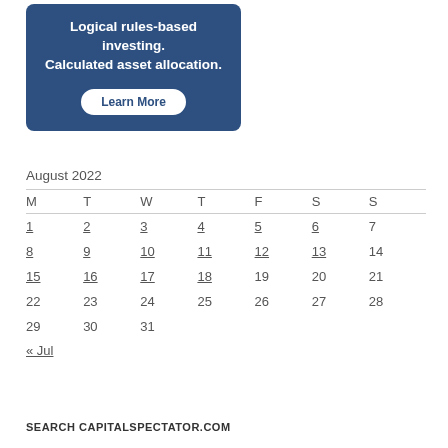[Figure (infographic): Dark blue rounded rectangle ad box with white bold text 'Logical rules-based investing. Calculated asset allocation.' and a white 'Learn More' button]
August 2022
| M | T | W | T | F | S | S |
| --- | --- | --- | --- | --- | --- | --- |
| 1 | 2 | 3 | 4 | 5 | 6 | 7 |
| 8 | 9 | 10 | 11 | 12 | 13 | 14 |
| 15 | 16 | 17 | 18 | 19 | 20 | 21 |
| 22 | 23 | 24 | 25 | 26 | 27 | 28 |
| 29 | 30 | 31 |  |  |  |  |
« Jul
SEARCH CAPITALSPECTATOR.COM